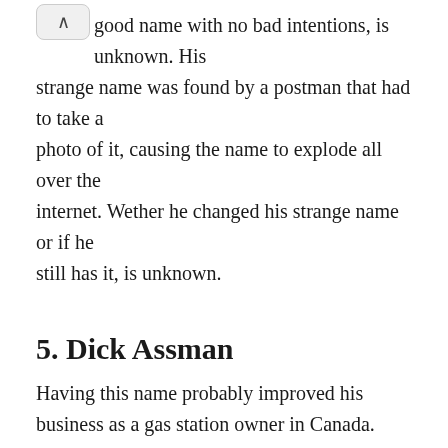good name with no bad intentions, is unknown. His strange name was found by a postman that had to take a photo of it, causing the name to explode all over the internet. Wether he changed his strange name or if he still has it, is unknown.
5. Dick Assman
Having this name probably improved his business as a gas station owner in Canada. Especially when he was interviewed by David letterman in 1995  for having quite an unusual name.
4. KentuckyFriedCrueltyDotcom
Born as Chris, but was a big fither against the KFC for